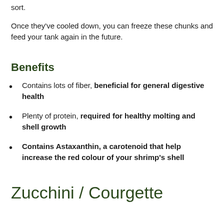sort.
Once they've cooled down, you can freeze these chunks and feed your tank again in the future.
Benefits
Contains lots of fiber, beneficial for general digestive health
Plenty of protein, required for healthy molting and shell growth
Contains Astaxanthin, a carotenoid that help increase the red colour of your shrimp's shell
Zucchini / Courgette